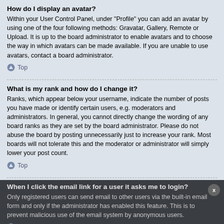How do I display an avatar?
Within your User Control Panel, under “Profile” you can add an avatar by using one of the four following methods: Gravatar, Gallery, Remote or Upload. It is up to the board administrator to enable avatars and to choose the way in which avatars can be made available. If you are unable to use avatars, contact a board administrator.
Top
What is my rank and how do I change it?
Ranks, which appear below your username, indicate the number of posts you have made or identify certain users, e.g. moderators and administrators. In general, you cannot directly change the wording of any board ranks as they are set by the board administrator. Please do not abuse the board by posting unnecessarily just to increase your rank. Most boards will not tolerate this and the moderator or administrator will simply lower your post count.
Top
When I click the email link for a user it asks me to login?
Only registered users can send email to other users via the built-in email form and only if the administrator has enabled this feature. This is to prevent malicious use of the email system by anonymous users.
Top